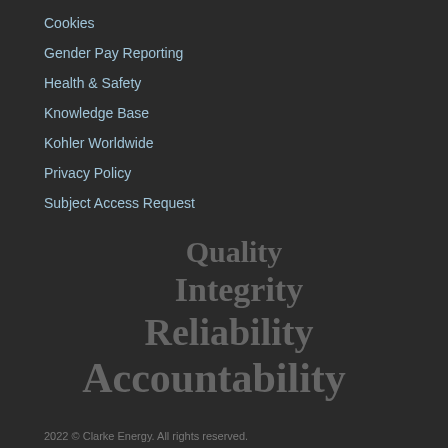Cookies
Gender Pay Reporting
Health & Safety
Knowledge Base
Kohler Worldwide
Privacy Policy
Subject Access Request
[Figure (infographic): Stacked typography of company values: Quality, Integrity, Reliability, Accountability in progressively larger dark grey serif bold text]
2022 © Clarke Energy. All rights reserved.